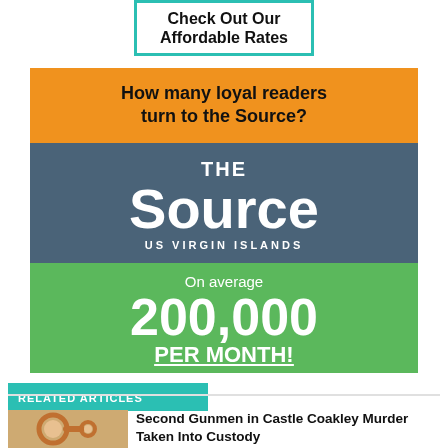[Figure (infographic): Top advertisement box with teal border containing bold text 'Check Out Our Affordable Rates']
[Figure (infographic): Advertisement for The Source US Virgin Islands newspaper showing orange top section with 'How many loyal readers turn to the Source?', blue middle section with 'THE Source US VIRGIN ISLANDS' logo, and green bottom section with 'On average 200,000 PER MONTH!']
RELATED ARTICLES
[Figure (photo): Thumbnail photo of handcuffs]
Second Gunmen in Castle Coakley Murder Taken Into Custody